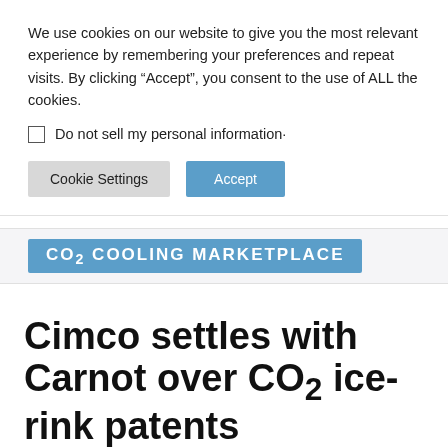We use cookies on our website to give you the most relevant experience by remembering your preferences and repeat visits. By clicking “Accept”, you consent to the use of ALL the cookies.
Do not sell my personal information
Cookie Settings
Accept
CO₂ COOLING MARKETPLACE
Cimco settles with Carnot over CO₂ ice-rink patents
July 7, 2015   INDUSTRIAL REFRIGERATION   NORTH AMERICA